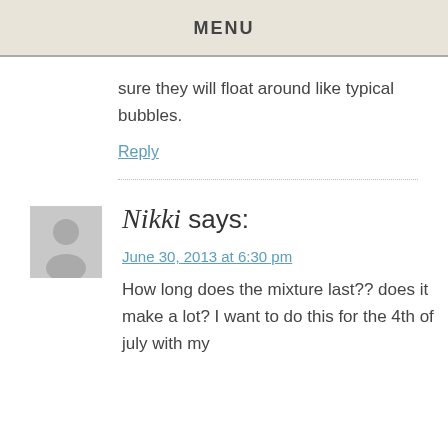MENU
sure they will float around like typical bubbles.
Reply
Nikki says:
June 30, 2013 at 6:30 pm
How long does the mixture last?? does it make a lot? I want to do this for the 4th of july with my